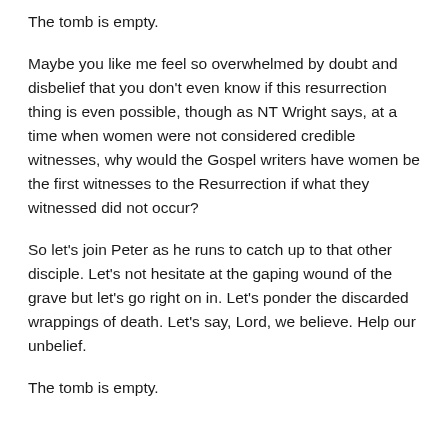The tomb is empty.
Maybe you like me feel so overwhelmed by doubt and disbelief that you don't even know if this resurrection thing is even possible, though as NT Wright says, at a time when women were not considered credible witnesses, why would the Gospel writers have women be the first witnesses to the Resurrection if what they witnessed did not occur?
So let's join Peter as he runs to catch up to that other disciple. Let's not hesitate at the gaping wound of the grave but let's go right on in. Let's ponder the discarded wrappings of death. Let's say, Lord, we believe. Help our unbelief.
The tomb is empty.